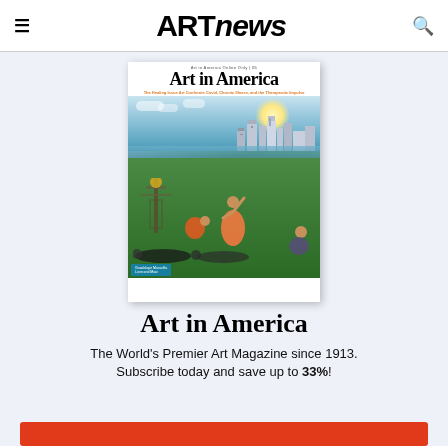ARTnews
[Figure (photo): Magazine cover of Art in America showing people doing yoga/movement on a lawn in a park with a city skyline in the background. The cover reads 'Art in America' with tagline 'The Healing Issue: Art Confronts Covid, Chronic Illness, and the Therapeutic Impulse']
Art in America
The World's Premier Art Magazine since 1913. Subscribe today and save up to 33%!